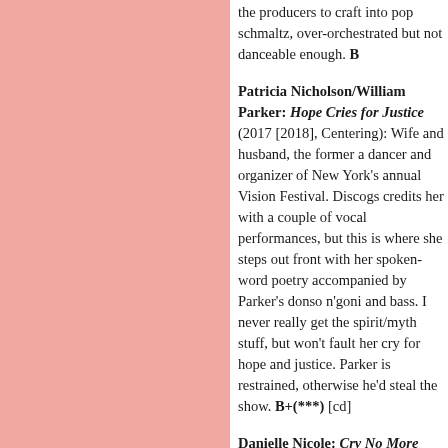[Figure (other): Pink/salmon colored rectangle filling the left column of the page]
the producers to craft into pop schmaltz, over-orchestrated but not danceable enough. B
Patricia Nicholson/William Parker: Hope Cries for Justice (2017 [2018], Centering): Wife and husband, the former a dancer and organizer of New York's annual Vision Festival. Discogs credits her with a couple of vocal performances, but this is where she steps out front with her spoken-word poetry accompanied by Parker's donso n'goni and bass. I never really get the spirit/myth stuff, but won't fault her cry for hope and justice. Parker is restrained, otherwise he'd steal the show. B+(***) [cd]
Danielle Nicole: Cry No More (2018, Concord): Last name Schnebelen, a blues/soul singer-songwriter, plays guitar and bass